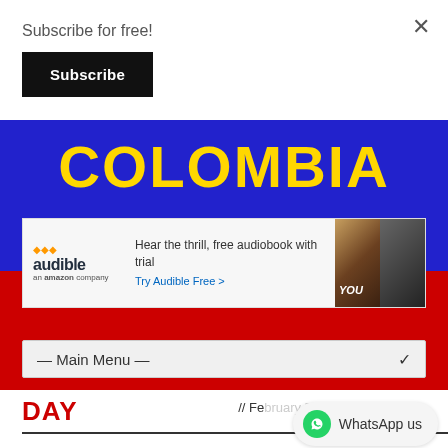Subscribe for free!
Subscribe
×
[Figure (screenshot): Colombia news website banner showing 'COLOMBIA' in large yellow bold text on a blue and red background (Colombian flag colors). Contains an Audible advertisement and a Main Menu dropdown.]
— Main Menu —
DAY
// February 5, 2021
[Figure (logo): WhatsApp us button with WhatsApp icon]